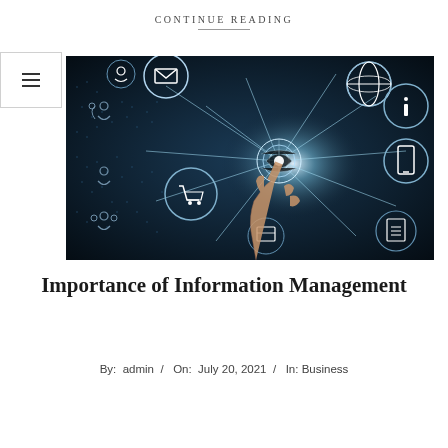CONTINUE READING
[Figure (photo): A hand touching a glowing digital network sphere surrounded by connected icons including email, shopping cart, phone, globe, and document on a dark blue background]
Importance of Information Management
By: admin / On: July 20, 2021 / In: Business